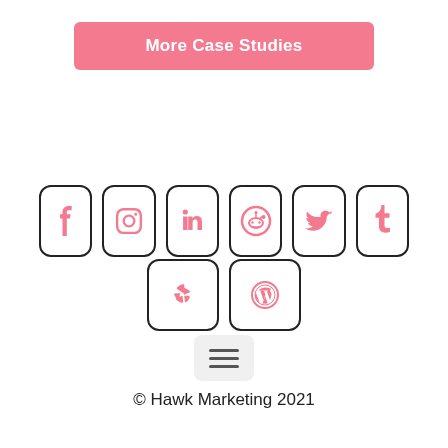More Case Studies
[Figure (infographic): Row of social media icon boxes: Facebook, Instagram, LinkedIn, Reddit, Twitter, Tumblr (top row); Yelp, WordPress (second row centered)]
[Figure (other): Hamburger menu icon (three horizontal lines) inside a rounded grey square button]
© Hawk Marketing 2021